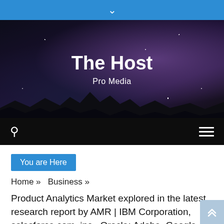↓
[Figure (illustration): Dark night sky hero banner with stars and mountain silhouette, containing title 'The Host' and subtitle 'Pro Media']
The Host
Pro Media
You are Here
Home » Business »
Product Analytics Market explored in the latest research report by AMR | IBM Corporation, salesforce.com, inc., Oracle; Adobe, Google, Mixpanel, Heap Inc., Plytix.com ApS, Latentview